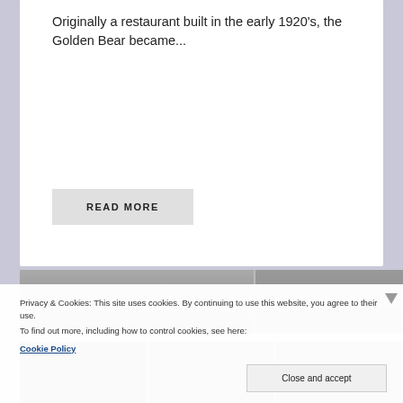12 comments, click here to add yours
Originally a restaurant built in the early 1920’s, the Golden Bear became...
READ MORE
[Figure (photo): Partial black and white photo strip showing a building exterior]
Privacy & Cookies: This site uses cookies. By continuing to use this website, you agree to their use.
To find out more, including how to control cookies, see here:
Cookie Policy
Close and accept
[Figure (photo): Black and white thumbnail photos at bottom of page]